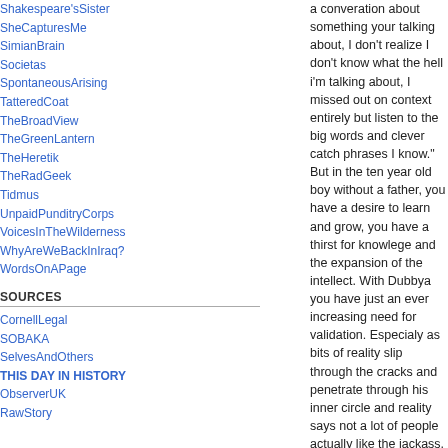Shakespeare'sSister
SheCapturesMe
SimianBrain
Societas
SpontaneousArising
TatteredCoat
TheBroadView
TheGreenLantern
TheHeretik
TheRadGeek
Tidmus
UnpaidPunditryCorps
VoicesInTheWilderness
WhyAreWeBackInIraq?
WordsOnAPage
SOURCES
CornellLegal
SOBAKA
SelvesAndOthers
THIS DAY IN HISTORY
ObserverUK
RawStory
a converation about something your talking about, I don't realize I don't know what the hell i'm talking about, I missed out on context entirely but listen to the big words and clever catch phrases I know." But in the ten year old boy without a father, you have a desire to learn and grow, you have a thirst for knowlege and the expansion of the intellect. With Dubbya you have just an ever increasing need for validation. Especialy as bits of reality slip through the cracks and penetrate through his inner circle and reality says not a lot of people actually like the jackass.
Posted by: Treban | May 22, 2005 at 10:23 PM
[Figure (illustration): Abstract squiggly line art avatar image in a small square thumbnail]
haha...It is so useful imformation for us to read...gogo..
Posted by: christian louboutin